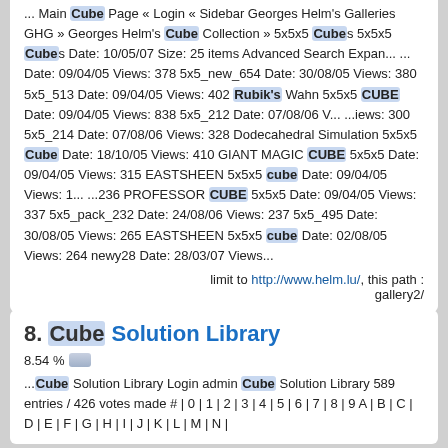... Main Cube Page «Login «Sidebar Georges Helm's Galleries GHG »Georges Helm's Cube Collection »5x5x5 Cubes 5x5x5 Cubes Date: 10/05/07 Size: 25 items Advanced Search Expan... ... Date: 09/04/05 Views: 378 5x5_new_654 Date: 30/08/05 Views: 380 5x5_513 Date: 09/04/05 Views: 402 Rubik's Wahn 5x5x5 CUBE Date: 09/04/05 Views: 838 5x5_212 Date: 07/08/06 V... ...iews: 300 5x5_214 Date: 07/08/06 Views: 328 Dodecahedral Simulation 5x5x5 Cube Date: 18/10/05 Views: 410 GIANT MAGIC CUBE 5x5x5 Date: 09/04/05 Views: 315 EASTSHEEN 5x5x5 cube Date: 09/04/05 Views: 1... ...236 PROFESSOR CUBE 5x5x5 Date: 09/04/05 Views: 337 5x5_pack_232 Date: 24/08/06 Views: 237 5x5_495 Date: 30/08/05 Views: 265 EASTSHEEN 5x5x5 cube Date: 02/08/05 Views: 264 newy28 Date: 28/03/07 Views...
limit to http://www.helm.lu/, this path : gallery2/
8. Cube Solution Library
8.54 %
...Cube Solution Library Login admin Cube Solution Library 589 entries / 426 votes made # | 0 | 1 | 2 | 3 | 4 | 5 | 6 | 7 | 8 | 9 A | B | C | D | E | F | G | H | I | J | K | L | M | N |